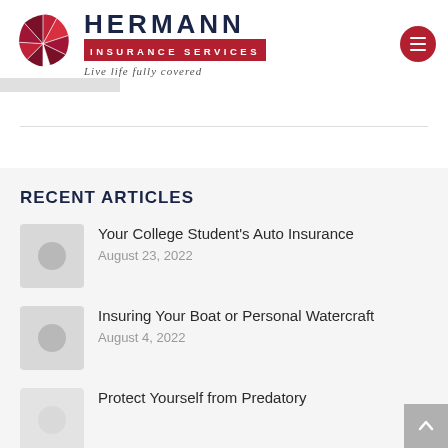[Figure (logo): Hermann Insurance Services logo with umbrella graphic, company name, and tagline 'Live life fully covered']
RECENT ARTICLES
Your College Student's Auto Insurance
August 23, 2022
Insuring Your Boat or Personal Watercraft
August 4, 2022
Protect Yourself from Predatory...